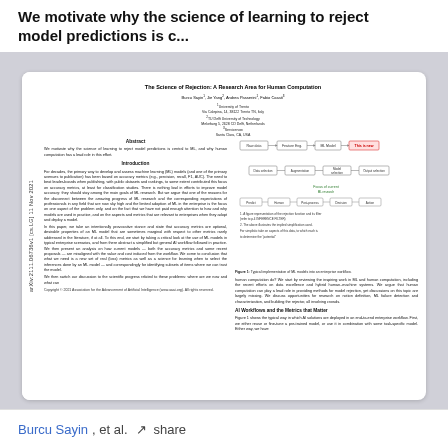We motivate why the science of learning to reject model predictions is c...
[Figure (screenshot): Screenshot of an academic paper titled 'The Science of Rejection: A Research Area for Human Computation' by Burcu Sayin, Jie Yang, Andrea Passerini, Fabio Casati. The paper shows abstract, introduction, and a diagram of ML workflow.]
Burcu Sayin, et al. · share